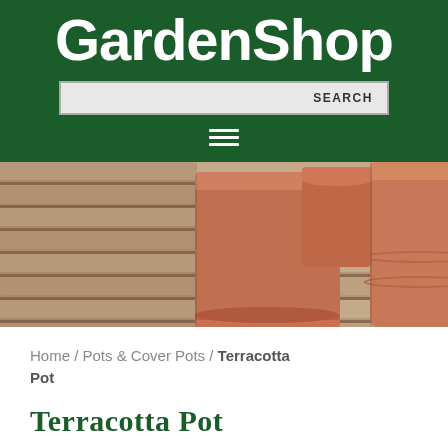GardenShop
[Figure (screenshot): Search bar with text input and SEARCH button on dark green background, followed by hamburger menu icon]
[Figure (photo): Close-up photo of terracotta pots on a wooden slatted surface, showing cylindrical clay pots in salmon/terracotta color]
Home / Pots & Cover Pots / Terracotta Pot
Terracotta Pot